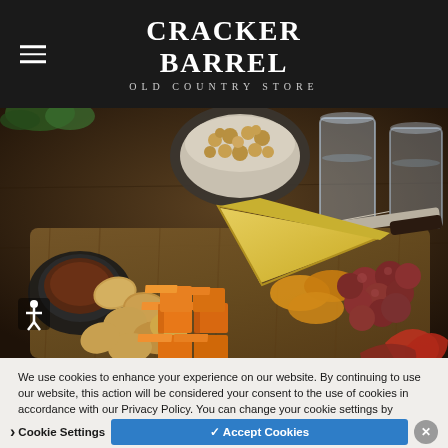Cracker Barrel
[Figure (photo): Cracker Barrel food board photo showing cheddar cheese cubes, crackers, grapes, olives, nuts in a bowl, a glass of water, a knife, and a small dipping sauce bowl arranged on a wooden cutting board.]
We use cookies to enhance your experience on our website. By continuing to use our website, this action will be considered your consent to the use of cookies in accordance with our Privacy Policy. You can change your cookie settings by accessing our Cookie Settings Tool. Privacy Policy
Cookie Settings
✓ Accept Cookies